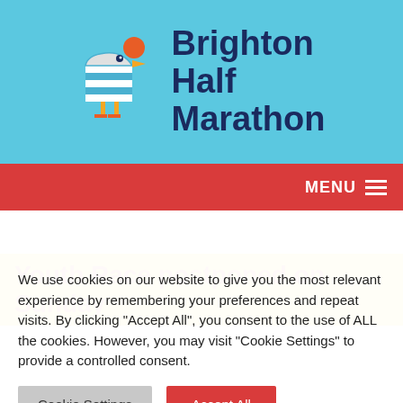[Figure (logo): Brighton Half Marathon logo with stylized seagull bird (blue/white striped body, red circle head) and text 'Brighton Half Marathon' in dark navy bold font on sky blue background]
MENU ≡
Youth Race postponed on Sunday
We use cookies on our website to give you the most relevant experience by remembering your preferences and repeat visits. By clicking "Accept All", you consent to the use of ALL the cookies. However, you may visit "Cookie Settings" to provide a controlled consent.
Cookie Settings | Accept All